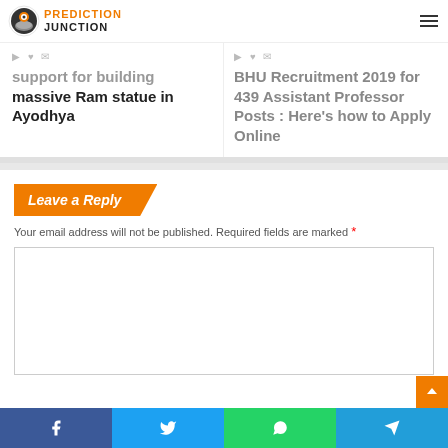Prediction Junction logo and navigation
support for building massive Ram statue in Ayodhya
BHU Recruitment 2019 for 439 Assistant Professor Posts : Here's how to Apply Online
Leave a Reply
Your email address will not be published. Required fields are marked *
Share bar: Facebook, Twitter, WhatsApp, Telegram